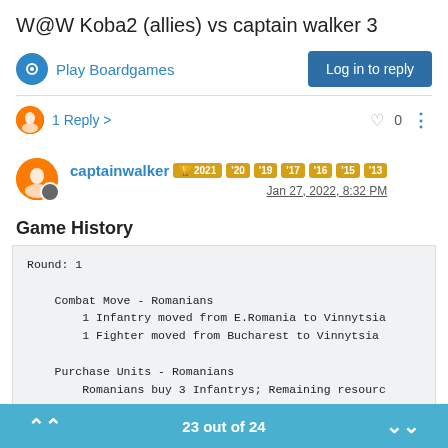W@W Koba2 (allies) vs captain walker 3
Play Boardgames
Log in to reply
1 Reply >
0
captainwalker  2021 '20 '19 '17 '16 '15 '13  Jan 27, 2022, 8:32 PM
Game History
Round: 1

    Combat Move - Romanians
        1 Infantry moved from E.Romania to Vinnytsia
        1 Fighter moved from Bucharest to Vinnytsia

    Purchase Units - Romanians
        Romanians buy 3 Infantrys; Remaining resourc
23 out of 24